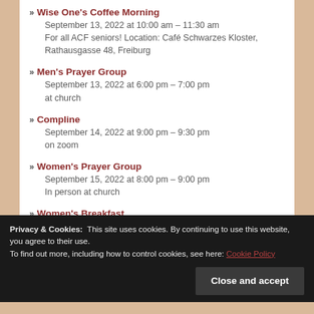Wise One's Coffee Morning
September 13, 2022 at 10:00 am – 11:30 am
For all ACF seniors! Location: Café Schwarzes Kloster, Rathausgasse 48, Freiburg
Men's Prayer Group
September 13, 2022 at 6:00 pm – 7:00 pm
at church
Compline
September 14, 2022 at 9:00 pm – 9:30 pm
on zoom
Women's Prayer Group
September 15, 2022 at 8:00 pm – 9:00 pm
In person at church
Women's Breakfast
September 17, 2022 at 9:00 am – 11:00 am
Privacy & Cookies: This site uses cookies. By continuing to use this website, you agree to their use.
To find out more, including how to control cookies, see here: Cookie Policy